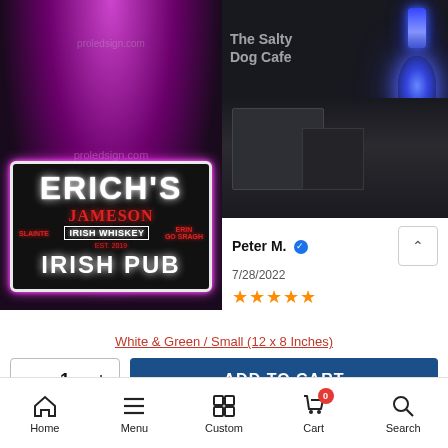[Figure (photo): Neon LED sign reading ERICH'S JAMESON IRISH WHISKEY IRISH PUB with pink/magenta glow on dark background. Watermark: proledsign.com]
[Figure (photo): Dark bar interior with blue neon glowing sign and The Salty Dog Cafe sign in background]
Peter M. ✓
7/28/2022
★★★★★
White & Green / Small (12 x 8 Inches)
- 1 +
ADD TO CART
Home  Menu  Custom  Cart  Search